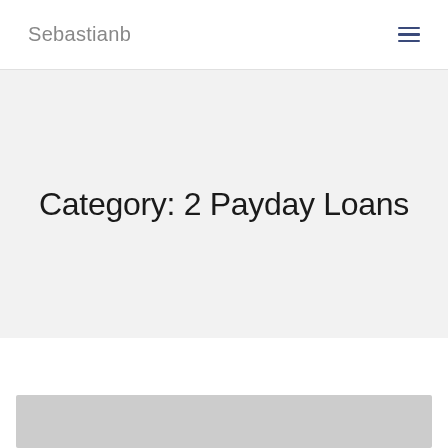Sebastianb
Category: 2 Payday Loans
[Figure (photo): Gray image placeholder at the bottom of the page]